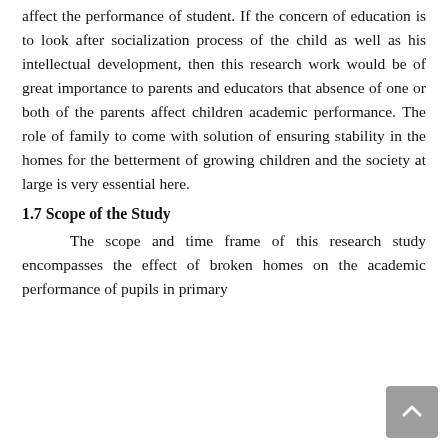affect the performance of student. If the concern of education is to look after socialization process of the child as well as his intellectual development, then this research work would be of great importance to parents and educators that absence of one or both of the parents affect children academic performance. The role of family to come with solution of ensuring stability in the homes for the betterment of growing children and the society at large is very essential here.
1.7 Scope of the Study
The scope and time frame of this research study encompasses the effect of broken homes on the academic performance of pupils in primary